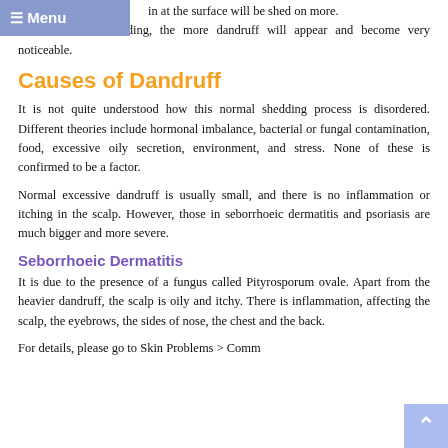≡ Menu
in at the surface will be shed on more. The faster the shedding, the more dandruff will appear and become very noticeable.
Causes of Dandruff
It is not quite understood how this normal shedding process is disordered. Different theories include hormonal imbalance, bacterial or fungal contamination, food, excessive oily secretion, environment, and stress. None of these is confirmed to be a factor.
Normal excessive dandruff is usually small, and there is no inflammation or itching in the scalp. However, those in seborrhoeic dermatitis and psoriasis are much bigger and more severe.
Seborrhoeic Dermatitis
It is due to the presence of a fungus called Pityrosporum ovale. Apart from the heavier dandruff, the scalp is oily and itchy. There is inflammation, affecting the scalp, the eyebrows, the sides of nose, the chest and the back.
For details, please go to Skin Problems > Comm